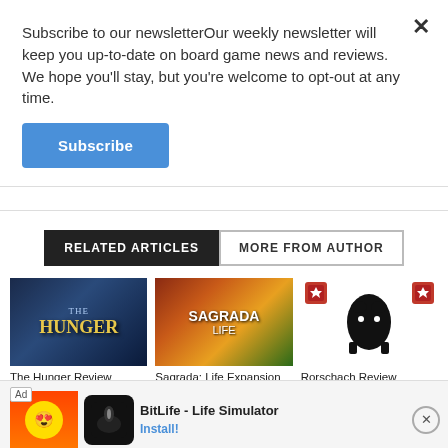Subscribe to our newsletterOur weekly newsletter will keep you up-to-date on board game news and reviews. We hope you'll stay, but you're welcome to opt-out at any time.
Subscribe
RELATED ARTICLES
MORE FROM AUTHOR
[Figure (photo): The Hunger board game cover art]
The Hunger Review
[Figure (photo): Sagrada: Life Expansion board game cover]
Sagrada: Life Expansion
[Figure (photo): Rorschach Review game cover with inkblot-style artwork]
Rorschach Review
[Figure (screenshot): Ad banner for BitLife - Life Simulator mobile app with Install button]